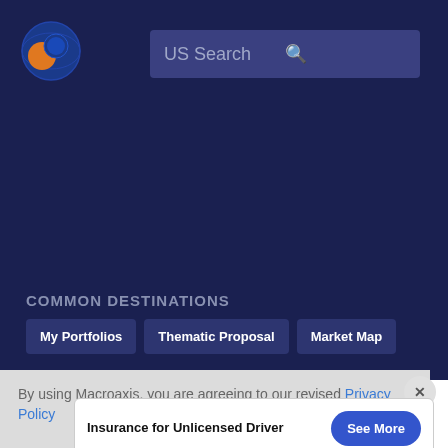[Figure (logo): Macroaxis globe logo with orange and blue colors]
US Search
COMMON DESTINATIONS
My Portfolios
Thematic Proposal
Market Map
By using Macroaxis, you are agreeing to our revised Privacy Policy
Insurance for Unlicensed Driver
See More